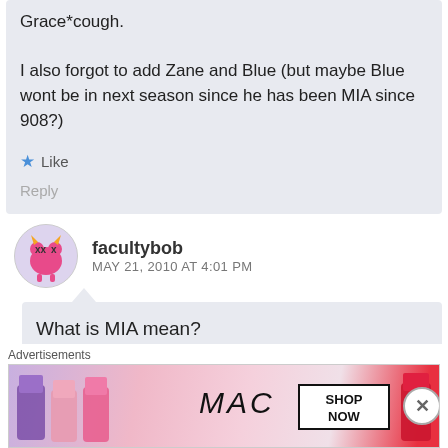Grace*cough.

I also forgot to add Zane and Blue (but maybe Blue wont be in next season since he has been MIA since 908?)
Like
Reply
facultybob
MAY 21, 2010 AT 4:01 PM
What is MIA mean?
Advertisements
[Figure (photo): MAC cosmetics advertisement showing lipsticks in purple, pink, and red with MAC logo and SHOP NOW button]